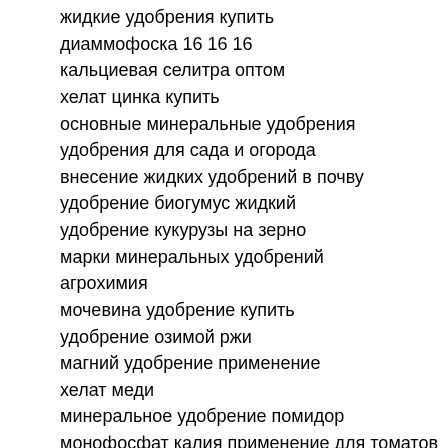жидкие удобрения купить
диаммофоска 16 16 16
кальциевая селитра оптом
хелат цинка купить
основные минеральные удобрения
удобрения для сада и огорода
внесение жидких удобрений в почву
удобрение биогумус жидкий
удобрение кукурузы на зерно
марки минеральных удобрений
агрохимия
мочевина удобрение купить
удобрение озимой ржи
магний удобрение применение
хелат меди
минеральное удобрение помидор
монофосфат калия применение для томатов корневая подкормка
карбамид в садоводстве
химзащита посевов
аммиачная селитра удобрение
жидкое комплексное удобрение с микроэлементами
удобрения и средства защиты растений
гидрофосфат аммония